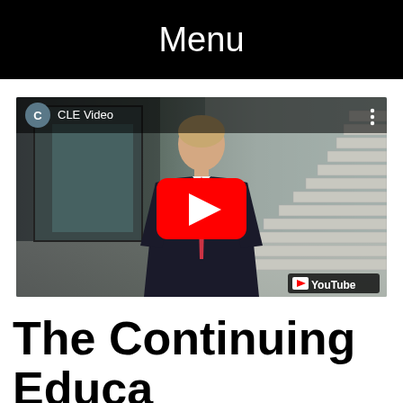Menu
[Figure (screenshot): YouTube video embed showing a man in a suit and tie standing in front of a staircase, with the channel name 'CLE Video' and YouTube play button overlay]
The Continuing Education